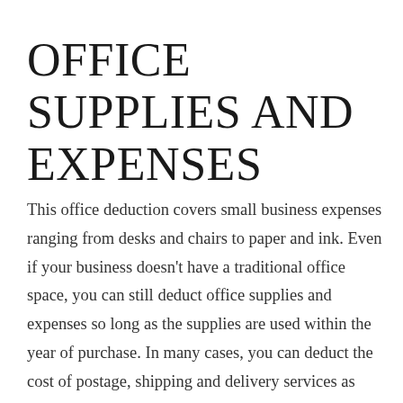OFFICE SUPPLIES AND EXPENSES
This office deduction covers small business expenses ranging from desks and chairs to paper and ink. Even if your business doesn't have a traditional office space, you can still deduct office supplies and expenses so long as the supplies are used within the year of purchase. In many cases, you can deduct the cost of postage, shipping and delivery services as well.